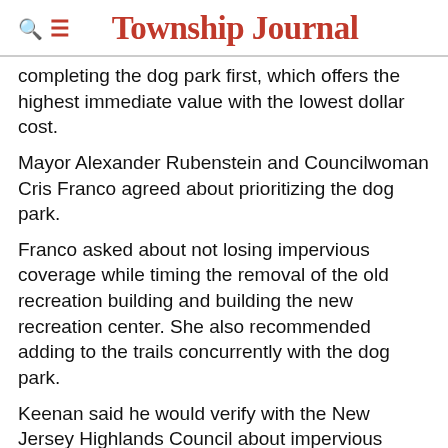Township Journal
completing the dog park first, which offers the highest immediate value with the lowest dollar cost.
Mayor Alexander Rubenstein and Councilwoman Cris Franco agreed about prioritizing the dog park.
Franco asked about not losing impervious coverage while timing the removal of the old recreation building and building the new recreation center. She also recommended adding to the trails concurrently with the dog park.
Keenan said he would verify with the New Jersey Highlands Council about impervious coverage guidelines.
Councilman Jack Gallagher questioned getting rid of the skate park, because he saw a tremendous amount